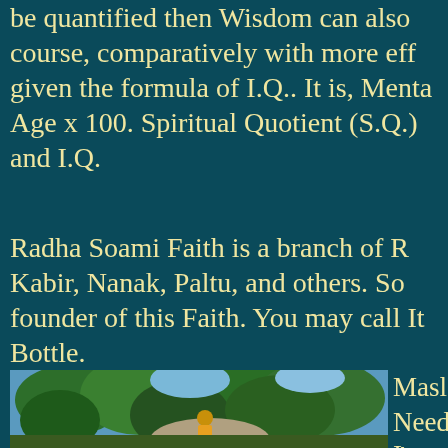be quantified then Wisdom can also course, comparatively with more eff given the formula of I.Q.. It is, Menta Age x 100. Spiritual Quotient (S.Q.) and I.Q.
Radha Soami Faith is a branch of R Kabir, Nanak, Paltu, and others. So founder of this Faith. You may call It Bottle.
[Figure (illustration): Painting of a figure riding an elephant through a lush green forest scene]
Maslow Needs. A self-actu realizatio
In our s